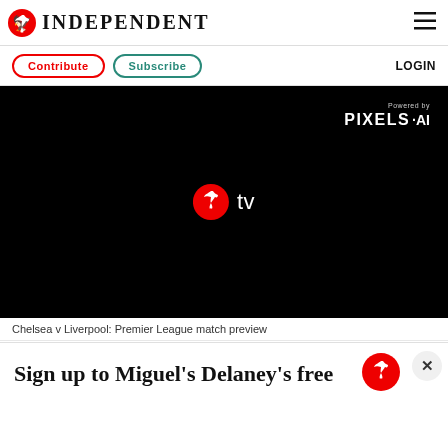INDEPENDENT
Contribute  Subscribe  LOGIN
[Figure (screenshot): Black video player with Independent TV logo (eagle icon + 'tv') centered, and 'Powered by PIXELS·AI' badge in top-right corner]
Chelsea v Liverpool: Premier League match preview
Sign up to Miguel's Delaney's free